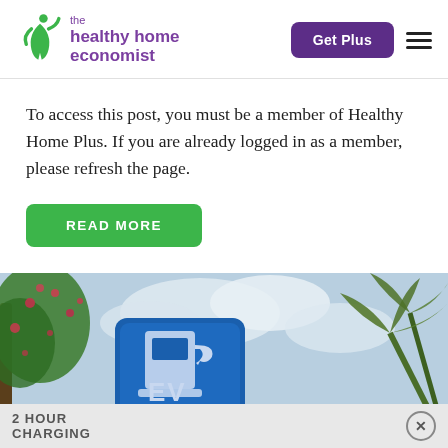the healthy home economist — Get Plus
To access this post, you must be a member of Healthy Home Plus. If you are already logged in as a member, please refresh the page.
READ MORE
[Figure (photo): EV charging station sign against a partly cloudy sky, with flowering trees and palm fronds visible on either side.]
2 HOUR CHARGING